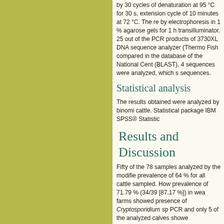by 30 cycles of denaturation at 95 °C for 30 s, extension cycle of 10 minutes at 72 °C. The results by electrophoresis in 1 % agarose gels for 1 h transilluminator. 25 out of the PCR products of 3730XL DNA sequence analyzer (Thermo Fish compared in the database of the National Cent (BLAST), 4 sequences were analyzed, which s sequences.
Statistical analysis
The results obtained were analyzed by binomi cattle. Statistical package IBM SPSS® Statistic
Results and Discussion
Fifty of the 78 samples analyzed by the modifie prevalence of 64 % for all cattle sampled. How prevalence of 71.79 % (34/39 [87.17 %]) in wea farms showed presence of Cryptosporidium sp PCR and only 5 of the analyzed calves showe
Table 1.
Prevalence of Cryptosporid bovines by Ziehl-Neelsen an
| Sampled groups | Analyzed samples | Positive results by Zhiehl-Neel |
| --- | --- | --- |
| Calves | 39 | 20 |
| Milked Cows | 39 | 30 |
| Total | 78 | 50 |